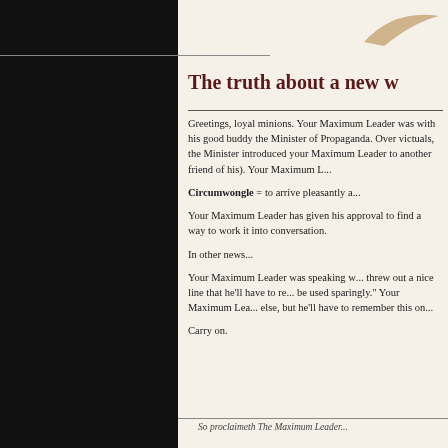[Figure (logo): Decorative swoosh/logo mark in tan/gold color in upper right area]
The truth about a new w
Greetings, loyal minions. Your Maximum Leader was with his good buddy the Minister of Propaganda. Over victuals, the Minister introduced your Maximum Leader to another friend of his). Your Maximum L...
Circumwongle = to arrive pleasantly a...
Your Maximum Leader has given his approval to find a way to work it into conversation.
In other news...
Your Maximum Leader was speaking w... threw out a nice line that he'll have to re... be used sparingly." Your Maximum Lea... else, but he'll have to remember this on...
Carry on.
So proclaimeth The Maximum Leader...